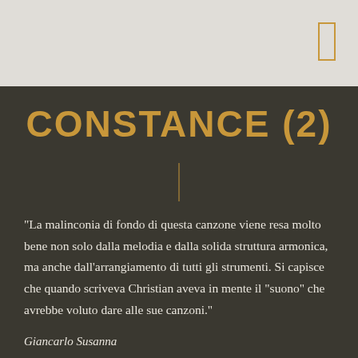CONSTANCE (2)
“La malinconia di fondo di questa canzone viene resa molto bene non solo dalla melodia e dalla solida struttura armonica, ma anche dall’arrangiamento di tutti gli strumenti. Si capisce che quando scriveva Christian aveva in mente il “suono” che avrebbe voluto dare alle sue canzoni.”
Giancarlo Susanna